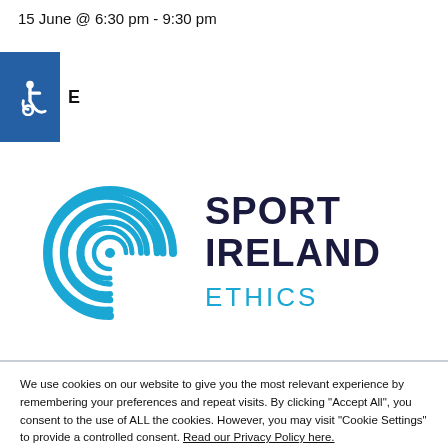15 June @ 6:30 pm - 9:30 pm
[Figure (logo): Blue square with white wheelchair accessibility icon, and letter E to the right]
[Figure (logo): Sport Ireland Ethics logo: blue spiral S graphic on left, bold text SPORT IRELAND in dark blue and ETHICS in light blue on right]
We use cookies on our website to give you the most relevant experience by remembering your preferences and repeat visits. By clicking "Accept All", you consent to the use of ALL the cookies. However, you may visit "Cookie Settings" to provide a controlled consent. Read our Privacy Policy here.